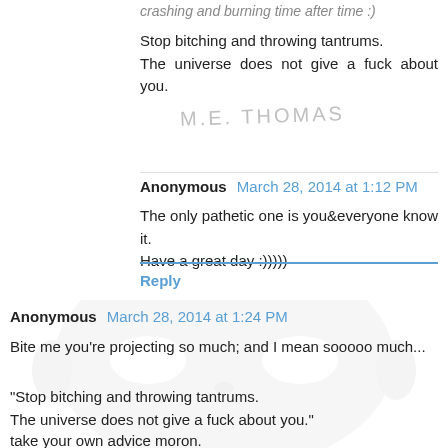crashing and burning time after time :)
Stop bitching and throwing tantrums.
The universe does not give a fuck about you.
[Figure (illustration): Handwritten text reading 'M.E. THOMAS' in light gray/silver ink]
Anonymous March 28, 2014 at 1:12 PM
The only pathetic one is you&everyone know it. Have a great day :)))))
Reply
[Figure (photo): A white blank face mask (anonymous/plain face mask) overlaid on the lower portion of the page]
Anonymous March 28, 2014 at 1:24 PM
Bite me you're projecting so much; and I mean sooooo much...
"Stop bitching and throwing tantrums.
The universe does not give a fuck about you."
take your own advice moron.